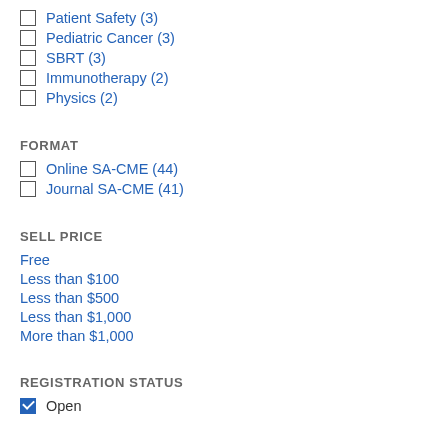Patient Safety (3)
Pediatric Cancer (3)
SBRT (3)
Immunotherapy (2)
Physics (2)
FORMAT
Online SA-CME (44)
Journal SA-CME (41)
SELL PRICE
Free
Less than $100
Less than $500
Less than $1,000
More than $1,000
REGISTRATION STATUS
Open